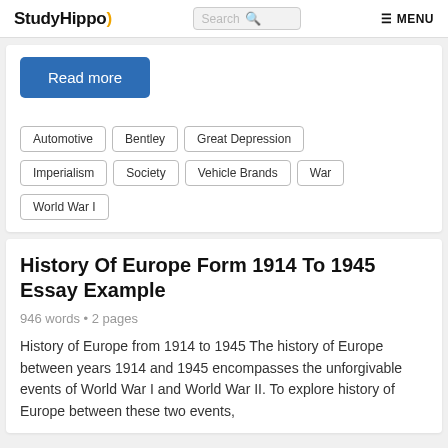StudyHippo | Search | MENU
Read more
Automotive
Bentley
Great Depression
Imperialism
Society
Vehicle Brands
War
World War I
History Of Europe Form 1914 To 1945 Essay Example
946 words • 2 pages
History of Europe from 1914 to 1945 The history of Europe between years 1914 and 1945 encompasses the unforgivable events of World War I and World War II. To explore history of Europe between these two events,